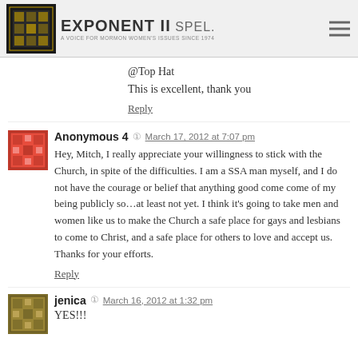Exponent II
@Top Hat
This is excellent, thank you
Reply
Anonymous 4 — March 17, 2012 at 7:07 pm
Hey, Mitch, I really appreciate your willingness to stick with the Church, in spite of the difficulties. I am a SSA man myself, and I do not have the courage or belief that anything good come come of my being publicly so…at least not yet. I think it's going to take men and women like us to make the Church a safe place for gays and lesbians to come to Christ, and a safe place for others to love and accept us. Thanks for your efforts.
Reply
jenica — March 16, 2012 at 1:32 pm
YES!!!